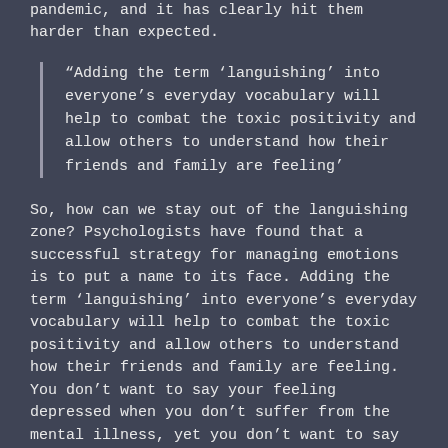pandemic, and it has clearly hit them harder than expected.
“Adding the term ‘languishing’ into everyone’s everyday vocabulary will help to combat the toxic positivity and allow others to understand how their friends and family are feeling’
So, how can we stay out of the languishing zone? Psychologists have found that a successful strategy for managing emotions is to put a name to its face. Adding the term ‘languishing’ into everyone’s everyday vocabulary will help to combat the toxic positivity and allow others to understand how their friends and family are feeling. You don’t want to say your feeling depressed when you don’t suffer from the mental illness, yet you don’t want to say your